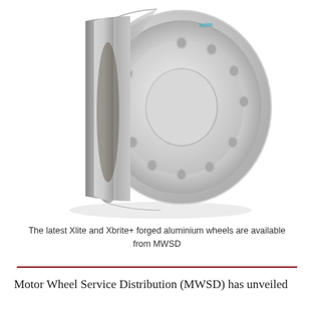[Figure (photo): Polished forged aluminium truck wheel (Xlite/Xbrite+) shown at an angle on a white background, displaying the circular bolt pattern and centre bore.]
The latest Xlite and Xbrite+ forged aluminium wheels are available from MWSD
Motor Wheel Service Distribution (MWSD) has unveiled